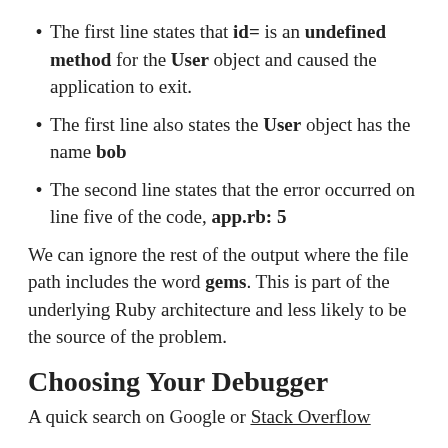The first line states that id= is an undefined method for the User object and caused the application to exit.
The first line also states the User object has the name bob
The second line states that the error occurred on line five of the code, app.rb: 5
We can ignore the rest of the output where the file path includes the word gems. This is part of the underlying Ruby architecture and less likely to be the source of the problem.
Choosing Your Debugger
A quick search on Google or Stack Overflow